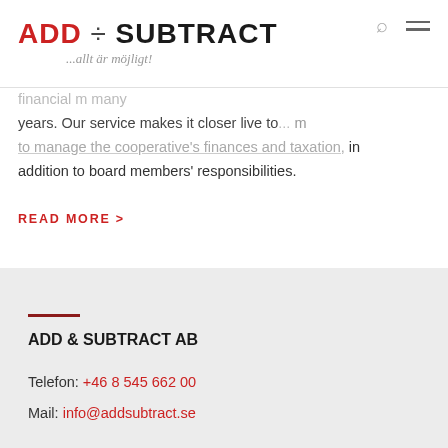ADD + SUBTRACT ...allt är möjligt!
financial m... many years. Our service makes it closer live to... manage the cooperative's finances and taxation, in addition to board members' responsibilities.
READ MORE >
ADD & SUBTRACT AB
Telefon: +46 8 545 662 00
Mail: info@addsubtract.se